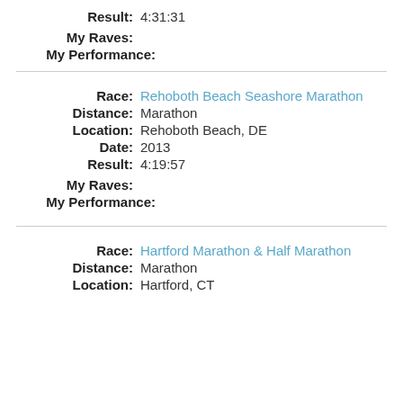Result: 4:31:31
My Raves:
My Performance:
Race: Rehoboth Beach Seashore Marathon
Distance: Marathon
Location: Rehoboth Beach, DE
Date: 2013
Result: 4:19:57
My Raves:
My Performance:
Race: Hartford Marathon & Half Marathon
Distance: Marathon
Location: Hartford, CT